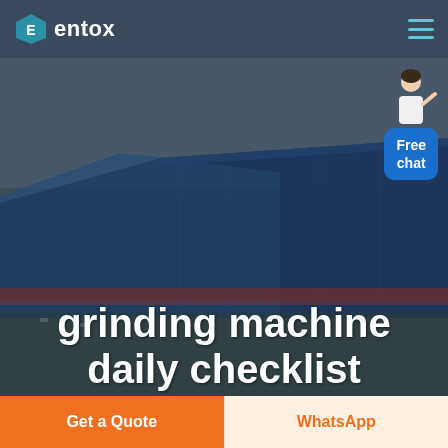entox
[Figure (photo): Aerial/perspective view of a large industrial facility with blue-roofed warehouses/factory buildings, overlaid with dark semi-transparent tint. Hero banner background image.]
grinding machine daily checklist format
Free chat
Get a Quote
WhatsApp